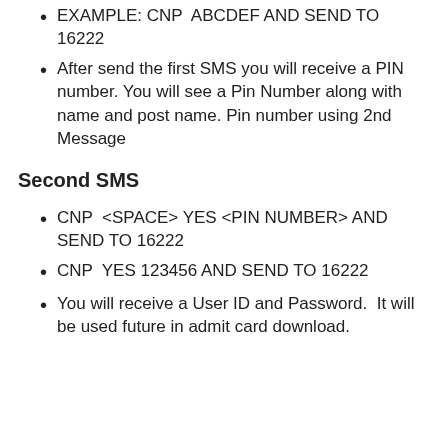EXAMPLE: CNP  ABCDEF AND SEND TO 16222
After send the first SMS you will receive a PIN number. You will see a Pin Number along with name and post name. Pin number using 2nd Message
Second SMS
CNP  <SPACE> YES <PIN NUMBER> AND SEND TO 16222
CNP  YES 123456 AND SEND TO 16222
You will receive a User ID and Password.  It will be used future in admit card download.